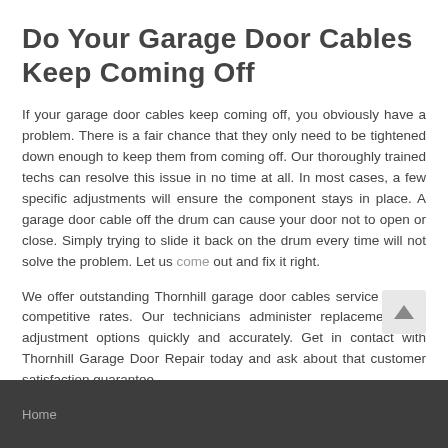Do Your Garage Door Cables Keep Coming Off
If your garage door cables keep coming off, you obviously have a problem. There is a fair chance that they only need to be tightened down enough to keep them from coming off. Our thoroughly trained techs can resolve this issue in no time at all. In most cases, a few specific adjustments will ensure the component stays in place. A garage door cable off the drum can cause your door not to open or close. Simply trying to slide it back on the drum every time will not solve the problem. Let us come out and fix it right.
We offer outstanding Thornhill garage door cables service at very competitive rates. Our technicians administer replacement and adjustment options quickly and accurately. Get in contact with Thornhill Garage Door Repair today and ask about that customer satisfaction guarantee.
Home